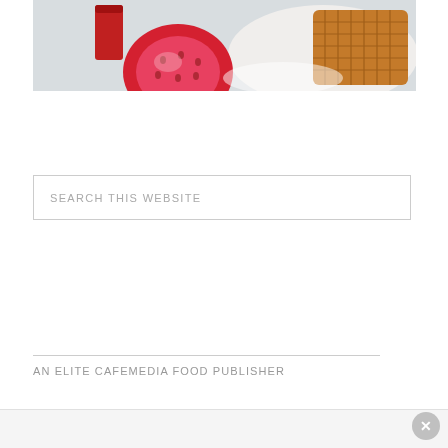[Figure (photo): Food photo showing a halved strawberry, a small red container, and what appears to be a waffle or textured food item on a white plate, against a light gray/blue background.]
SEARCH THIS WEBSITE
AN ELITE CAFEMEDIA FOOD PUBLISHER
[Figure (other): Close button (X in a circle) on a light bottom bar]